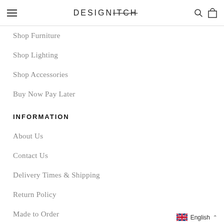DESIGNITCH (with search and cart icons)
Shop Furniture
Shop Lighting
Shop Accessories
Buy Now Pay Later
INFORMATION
About Us
Contact Us
Delivery Times & Shipping
Return Policy
Made to Order
Terms & Conditions
English